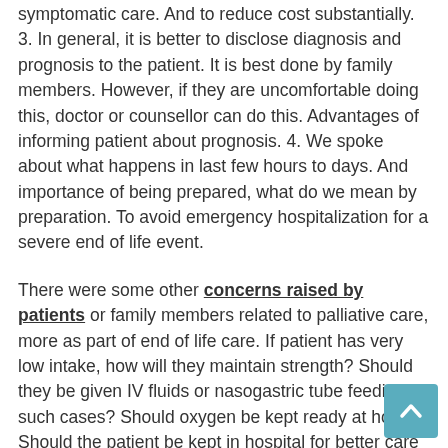symptomatic care. And to reduce cost substantially. 3. In general, it is better to disclose diagnosis and prognosis to the patient. It is best done by family members. However, if they are uncomfortable doing this, doctor or counsellor can do this. Advantages of informing patient about prognosis. 4. We spoke about what happens in last few hours to days. And importance of being prepared, what do we mean by preparation. To avoid emergency hospitalization for a severe end of life event.
There were some other concerns raised by patients or family members related to palliative care, more as part of end of life care. If patient has very low intake, how will they maintain strength? Should they be given IV fluids or nasogastric tube feeding in such cases? Should oxygen be kept ready at home? Should the patient be kept in hospital for better care in last few weeks or days of life?